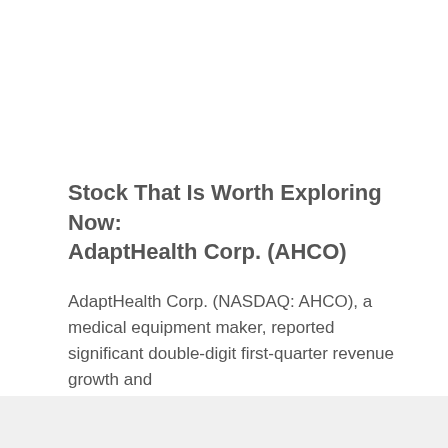Stock That Is Worth Exploring Now: AdaptHealth Corp. (AHCO)
AdaptHealth Corp. (NASDAQ: AHCO), a medical equipment maker, reported significant double-digit first-quarter revenue growth and